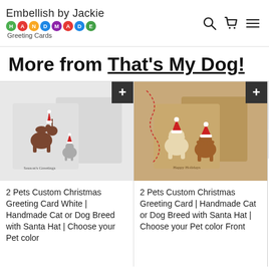Embellish by Jackie — Handmade Greeting Cards (with logo and nav icons)
More from That's My Dog!
[Figure (photo): Christmas greeting card showing two pet silhouettes with Santa hats on a light grey background, text 'Season's Greetings']
2 Pets Custom Christmas Greeting Card White | Handmade Cat or Dog Breed with Santa Hat | Choose your Pet color
[Figure (photo): Christmas greeting card on kraft brown background showing two pet silhouettes with Santa hats, text 'Happy Holidays']
2 Pets Custom Christmas Greeting Card | Handmade Cat or Dog Breed with Santa Hat | Choose your Pet color Front
[Figure (photo): Partially visible white greeting card on the right edge]
2 Pets You Ca Handm Breed Pet col Inside